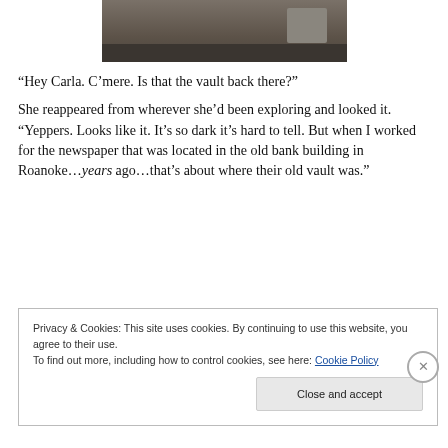[Figure (photo): Partial view of a dark interior room, possibly showing a bank vault area with dark flooring and equipment visible.]
“Hey Carla. C’mere. Is that the vault back there?”
She reappeared from wherever she'd been exploring and looked it. “Yeppers. Looks like it. It’s so dark it’s hard to tell. But when I worked for the newspaper that was located in the old bank building in Roanoke…years ago…that’s about where their old vault was.”
Privacy & Cookies: This site uses cookies. By continuing to use this website, you agree to their use.
To find out more, including how to control cookies, see here: Cookie Policy
Close and accept